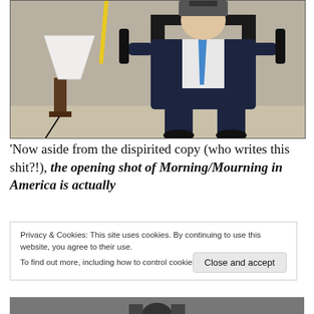[Figure (photo): A man in a suit and blue tie sits in a dark exercise/massage chair holding handles, with a white lamp beside him in a room setting.]
'Now aside from the dispirited copy (who writes this shit?!), the opening shot of Morning/Mourning in America is actually
Privacy & Cookies: This site uses cookies. By continuing to use this website, you agree to their use.
To find out more, including how to control cookies, see here: Cookie Policy
[Figure (photo): Partial bottom photo visible, dark figures against a lighter background.]